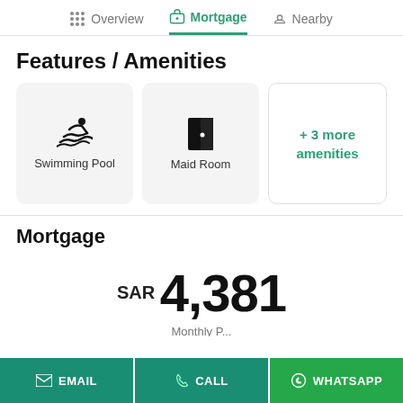Overview | Mortgage | Nearby
Features / Amenities
[Figure (other): Amenity cards showing Swimming Pool icon, Maid Room icon, and + 3 more amenities]
Mortgage
SAR 4,381
Monthly P...
EMAIL  CALL  WHATSAPP